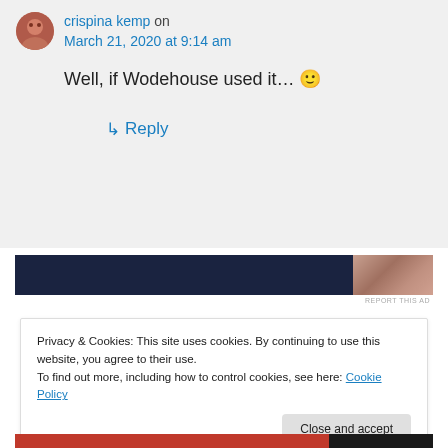crispina kemp on March 21, 2020 at 9:14 am
Well, if Wodehouse used it... 🙂
↳ Reply
[Figure (other): Advertisement banner with dark navy background and partial image on right side]
REPORT THIS AD
Privacy & Cookies: This site uses cookies. By continuing to use this website, you agree to their use.
To find out more, including how to control cookies, see here: Cookie Policy
Close and accept